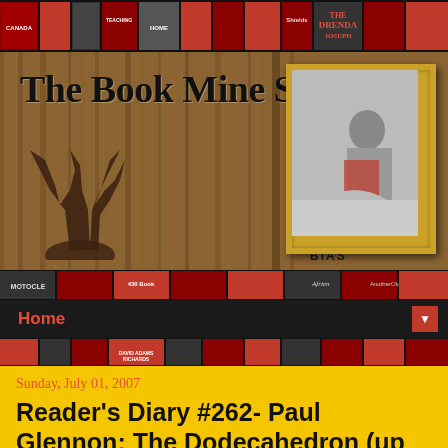[Figure (screenshot): Top banner with rows of book covers in red and black tones]
[Figure (screenshot): The Book Mine Set blog header with wood-panel background, moose antlers decoration, blog title, subtitle 'The Book Blog With A Canadian Bias', and a framed black-and-white photo of a person reading]
[Figure (screenshot): Middle strip with book covers and navigation elements including 'Home' link in red]
Sunday, July 01, 2007
Reader's Diary #262- Paul Glennon: The Dodecahedron (up to "The Plot to Hide America")
Canada Day. I thought at first I'd post a poem about Canada. Then I thought maybe I'd do a little poll about favourite Canadian books. Or maybe a piece on Canada's role in the world's literary scene. In the end I decided on none of the above. The latter two topics have been done a lot (here and